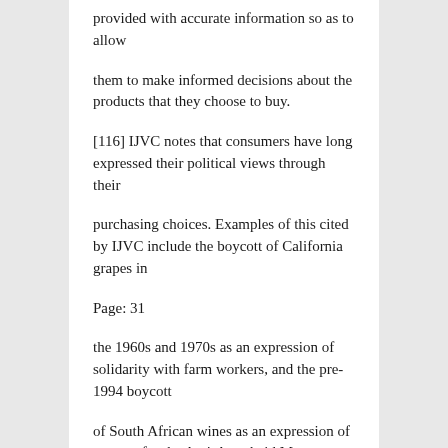provided with accurate information so as to allow
them to make informed decisions about the products that they choose to buy.
[116] IJVC notes that consumers have long expressed their political views through their
purchasing choices. Examples of this cited by IJVC include the boycott of California grapes in
Page: 31
the 1960s and 1970s as an expression of solidarity with farm workers, and the pre-1994 boycott
of South African wines as an expression of support for the Anti-Apartheid Movement.